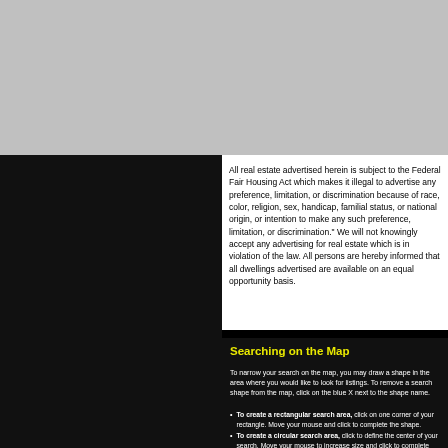All real estate advertised herein is subject to the Federal Fair Housing Act which makes it illegal to advertise any preference, limitation, or discrimination because of race, color, religion, sex, handicap, familial status, or national origin, or intention to make any such preference, limitation, or discrimination." We will not knowingly accept any advertising for real estate which is in violation of the law. All persons are hereby informed that all dwellings advertised are available on an equal opportunity basis.
Searching on the Map
To narrow your search on the map, you may draw a shape on the map to indicate the area where you would like to look for listings. To remove a search shape from the map at any time, click on the blue X next to the shape name.
To create a rectangular search area, click on the map to define one corner of your rectangle. Move your mouse to the opposite corner of the rectangle and click to complete the shape.
To create a circular search area, click on the map to define the center point of your search. Move your mouse to increase the size of the circle and click to complete the circle.
To create an irregular-shaped search area (polygon), click on the map to define the first corner of your search area. Continue clicking on the map to define the shape. Your polygon can have as many points as you like. Double-click to complete your polygon.
Multiple Search Shapes - When using multiple search shapes, RealtyTrac will search only the intersection of those shapes.